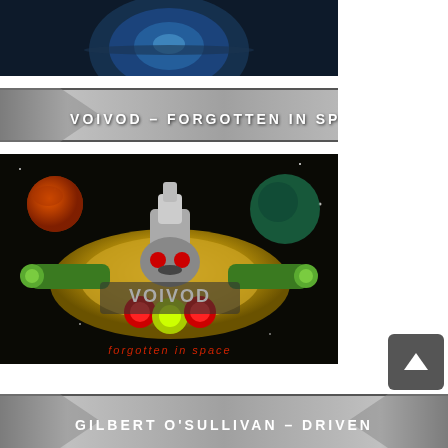[Figure (photo): Partial cropped image at top, appears to show a circular logo or spacecraft element on a dark blue/black background]
VOIVOD – FORGOTTEN IN SPACE
[Figure (photo): Voivod – Forgotten In Space album cover art showing a robotic/mechanical alien spacecraft character with metallic yellow/gold body, robot skull face, red and green lights, set against a dark space background with planets. Text 'forgotten in space' in red at bottom.]
GILBERT O'SULLIVAN – DRIVEN